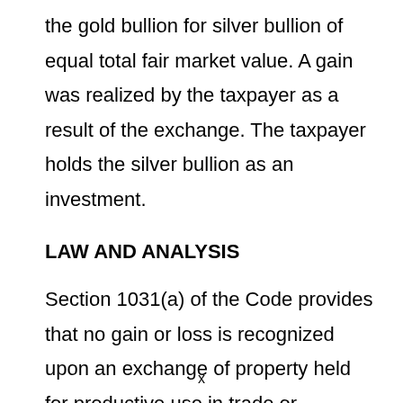the gold bullion for silver bullion of equal total fair market value. A gain was realized by the taxpayer as a result of the exchange. The taxpayer holds the silver bullion as an investment.
LAW AND ANALYSIS
Section 1031(a) of the Code provides that no gain or loss is recognized upon an exchange of property held for productive use in trade or
x